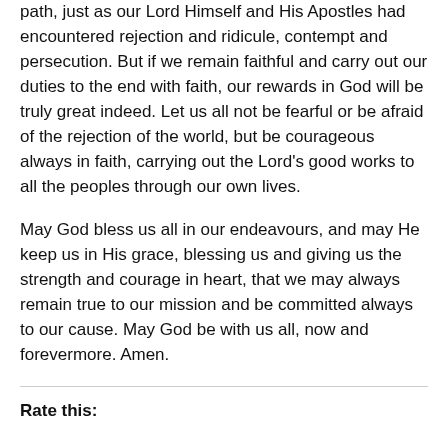path, just as our Lord Himself and His Apostles had encountered rejection and ridicule, contempt and persecution. But if we remain faithful and carry out our duties to the end with faith, our rewards in God will be truly great indeed. Let us all not be fearful or be afraid of the rejection of the world, but be courageous always in faith, carrying out the Lord's good works to all the peoples through our own lives.
May God bless us all in our endeavours, and may He keep us in His grace, blessing us and giving us the strength and courage in heart, that we may always remain true to our mission and be committed always to our cause. May God be with us all, now and forevermore. Amen.
Rate this: